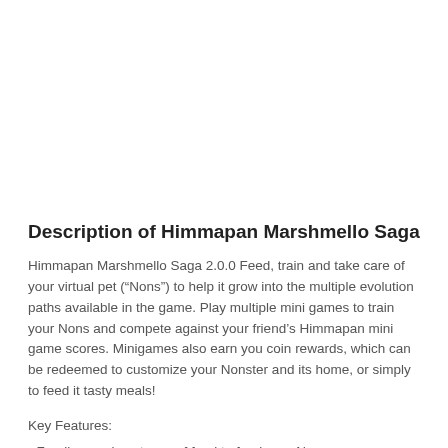Description of Himmapan Marshmello Saga
Himmapan Marshmello Saga 2.0.0 Feed, train and take care of your virtual pet (“Nons”) to help it grow into the multiple evolution paths available in the game. Play multiple mini games to train your Nons and compete against your friend’s Himmapan mini game scores. Minigames also earn you coin rewards, which can be redeemed to customize your Nonster and its home, or simply to feed it tasty meals!
Key Features:
• Feeding: various types of food to feed your Non
• Training: many fun minigames to train your Non
• Collection: Collect countless cute Nons
• Evolution: Train and feed your Non! Which path your Non will evolve into?